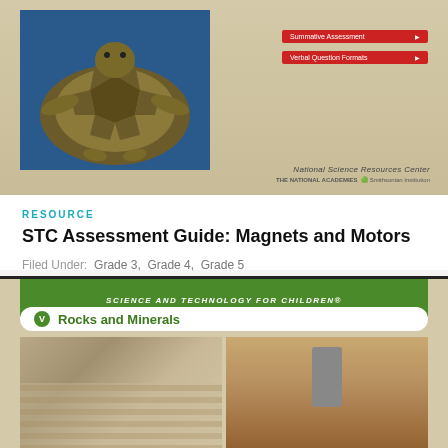[Figure (photo): Book cover for STC Assessment Guide: Magnets and Motors featuring a turtle image on blue background with red bars and National Science Research Center logo]
RESOURCE
STC Assessment Guide: Magnets and Motors
Filed Under: Grade 3, Grade 4, Grade 5
[Figure (photo): Book cover for Science and Technology for Children: Rocks and Minerals featuring geology and rover images on green and tan background]